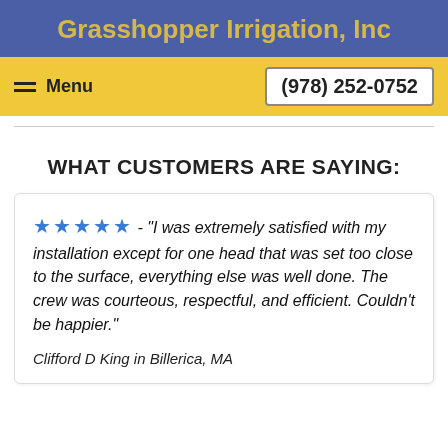Grasshopper Irrigation, Inc
Menu   (978) 252-0752
WHAT CUSTOMERS ARE SAYING:
★★★★★ - "I was extremely satisfied with my installation except for one head that was set too close to the surface, everything else was well done. The crew was courteous, respectful, and efficient. Couldn't be happier."
Clifford D King in Billerica, MA